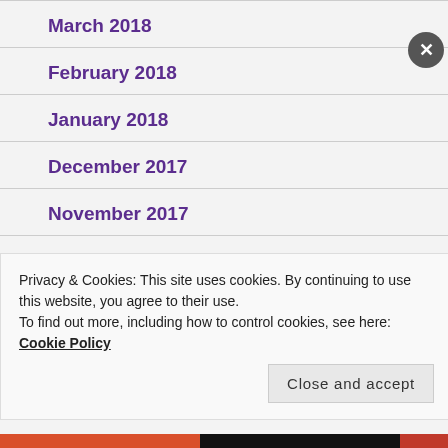March 2018
February 2018
January 2018
December 2017
November 2017
October 2017
Privacy & Cookies: This site uses cookies. By continuing to use this website, you agree to their use.
To find out more, including how to control cookies, see here: Cookie Policy
Close and accept